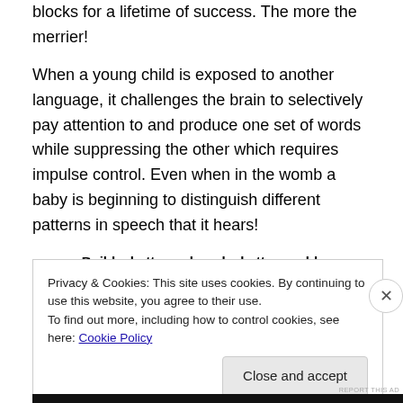blocks for a lifetime of success.  The more the merrier!
When a young child is exposed to another language, it challenges the brain to selectively pay attention to and produce one set of words while suppressing the other which requires impulse control.  Even when in the womb a baby is beginning to distinguish different patterns in speech that it hears!
Build a better web and a better world.
REPORT THIS AD
Privacy & Cookies: This site uses cookies. By continuing to use this website, you agree to their use.
To find out more, including how to control cookies, see here: Cookie Policy
Close and accept